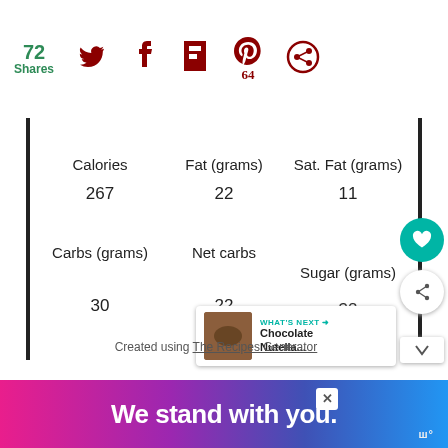72 Shares
| Calories | Fat (grams) | Sat. Fat (grams) |
| --- | --- | --- |
| 267 | 22 | 11 |
| Carbs (grams) | Net carbs | Sugar (grams) |
| --- | --- | --- |
| 30 | 22 | 32 |
https://www.whatscookinitalianstylecuisine.com/2010/11/nutella-h chocolate-with-ferrera.html
Created using The Recipes Generator
We stand with you.